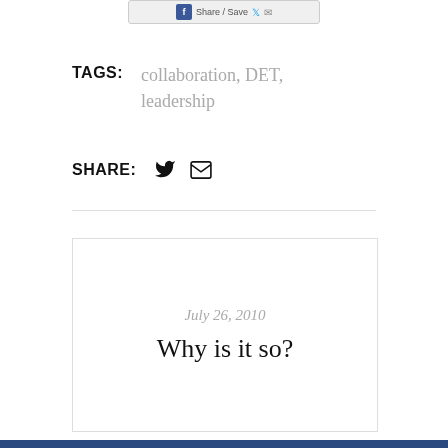[Figure (screenshot): Share/Save button bar with Facebook, Twitter, and email icons at the top of the page]
TAGS: collaboration, DET, leadership
SHARE: [Twitter icon] [Email icon]
July 26, 2010
Why is it so?